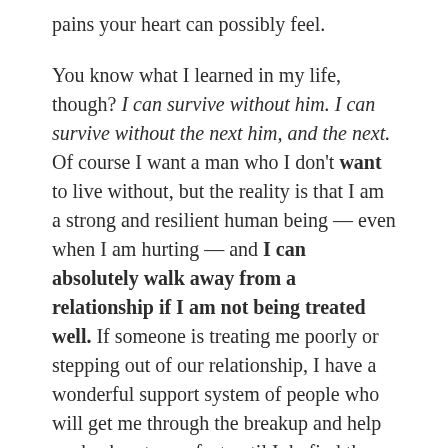pains your heart can possibly feel.
You know what I learned in my life, though? I can survive without him. I can survive without the next him, and the next. Of course I want a man who I don't want to live without, but the reality is that I am a strong and resilient human being — even when I am hurting — and I can absolutely walk away from a relationship if I am not being treated well. If someone is treating me poorly or stepping out of our relationship, I have a wonderful support system of people who will get me through the breakup and help me back onto my feet until I do find the guy I'm supposed to be with.
[partial text continues below]